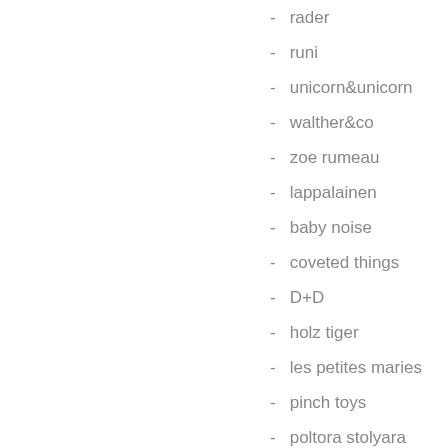- rader
- runi
- unicorn&unicorn
- walther&co
- zoe rumeau
- lappalainen
- baby noise
- coveted things
- D+D
- holz tiger
- les petites maries
- pinch toys
- poltora stolyara
- raduga grez
- sarmiento
- tree hopper toys
- KG design
- OUTLET
- SALE